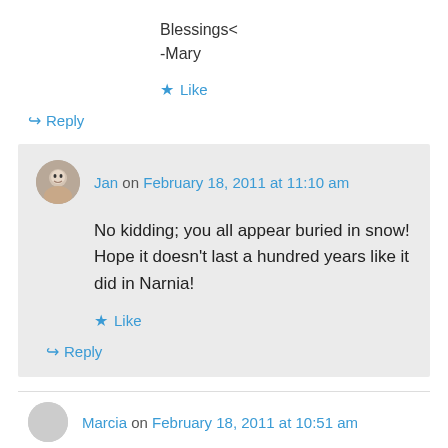Blessings<
-Mary
★ Like
↪ Reply
Jan on February 18, 2011 at 11:10 am
No kidding; you all appear buried in snow! Hope it doesn't last a hundred years like it did in Narnia!
★ Like
↪ Reply
Marcia on February 18, 2011 at 10:51 am